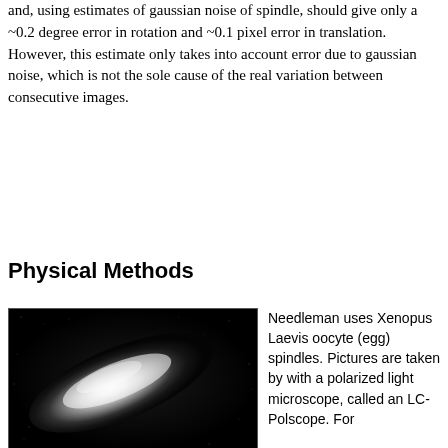and, using estimates of gaussian noise of spindle, should give only a ~0.2 degree error in rotation and ~0.1 pixel error in translation. However, this estimate only takes into account error due to gaussian noise, which is not the sole cause of the real variation between consecutive images.
Physical Methods
[Figure (photo): Polarized light microscope image (LC-Polscope) of a Xenopus Laevis oocyte (egg) spindle, showing a bright white elongated elliptical spindle structure against a dark/black background.]
Needleman uses Xenopus Laevis oocyte (egg) spindles. Pictures are taken by with a polarized light microscope, called an LC-Polscope. For